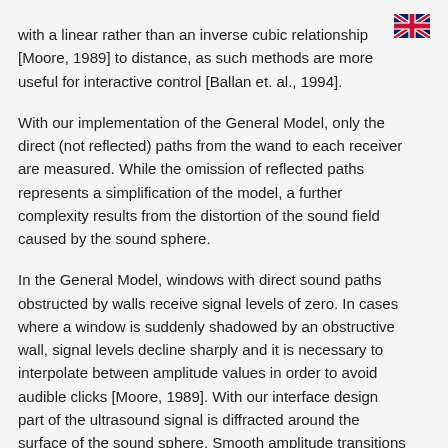[Figure (illustration): UK flag icon in the top right corner]
with a linear rather than an inverse cubic relationship [Moore, 1989] to distance, as such methods are more useful for interactive control [Ballan et. al., 1994].
With our implementation of the General Model, only the direct (not reflected) paths from the wand to each receiver are measured. While the omission of reflected paths represents a simplification of the model, a further complexity results from the distortion of the sound field caused by the sound sphere.
In the General Model, windows with direct sound paths obstructed by walls receive signal levels of zero. In cases where a window is suddenly shadowed by an obstructive wall, signal levels decline sharply and it is necessary to interpolate between amplitude values in order to avoid audible clicks [Moore, 1989]. With our interface design part of the ultrasound signal is diffracted around the surface of the sound sphere. Smooth amplitude transitions occur as windows (receivers) become